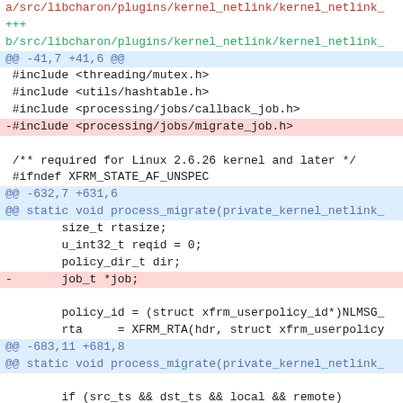a/src/libcharon/plugins/kernel_netlink/kernel_netlink_
+++
b/src/libcharon/plugins/kernel_netlink/kernel_netlink_
@@ -41,7 +41,6 @@
#include <threading/mutex.h>
 #include <utils/hashtable.h>
 #include <processing/jobs/callback_job.h>
-#include <processing/jobs/migrate_job.h>
/** required for Linux 2.6.26 kernel and later */
 #ifndef XFRM_STATE_AF_UNSPEC
@@ -632,7 +631,6
@@ static void process_migrate(private_kernel_netlink_
size_t rtasize;
        u_int32_t reqid = 0;
        policy_dir_t dir;
-       job_t *job;
policy_id = (struct xfrm_userpolicy_id*)NLMSG_
        rta     = XFRM_RTA(hdr, struct xfrm_userpolicy
@@ -683,11 +681,8
@@ static void process_migrate(private_kernel_netlink_
if (src_ts && dst_ts && local && remote)
        {